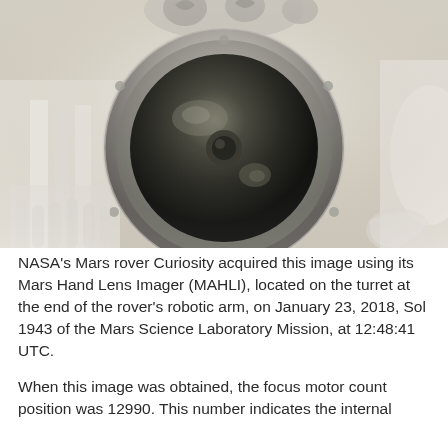[Figure (photo): Close-up photo of the Mars Hand Lens Imager (MAHLI) camera lens mounted on Curiosity rover's robotic arm turret. The lens is a large circular dark lens with a reflective ring, photographed against a light/white mechanical background with other rover components visible.]
NASA's Mars rover Curiosity acquired this image using its Mars Hand Lens Imager (MAHLI), located on the turret at the end of the rover's robotic arm, on January 23, 2018, Sol 1943 of the Mars Science Laboratory Mission, at 12:48:41 UTC.
When this image was obtained, the focus motor count position was 12990. This number indicates the internal